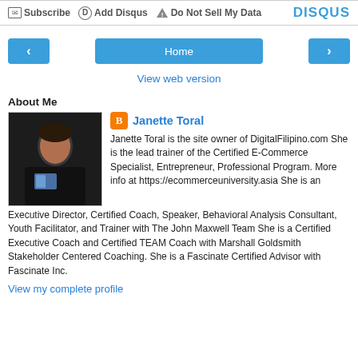Subscribe  Add Disqus  Do Not Sell My Data  DISQUS
[Figure (infographic): Navigation bar with left arrow button, Home button, and right arrow button in blue]
View web version
About Me
[Figure (photo): Profile photo of Janette Toral, a woman in a black shirt holding materials]
Janette Toral
Janette Toral is the site owner of DigitalFilipino.com She is the lead trainer of the Certified E-Commerce Specialist, Entrepreneur, Professional Program. More info at https://ecommerceuniversity.asia She is an Executive Director, Certified Coach, Speaker, Behavioral Analysis Consultant, Youth Facilitator, and Trainer with The John Maxwell Team She is a Certified Executive Coach and Certified TEAM Coach with Marshall Goldsmith Stakeholder Centered Coaching. She is a Fascinate Certified Advisor with Fascinate Inc.
View my complete profile